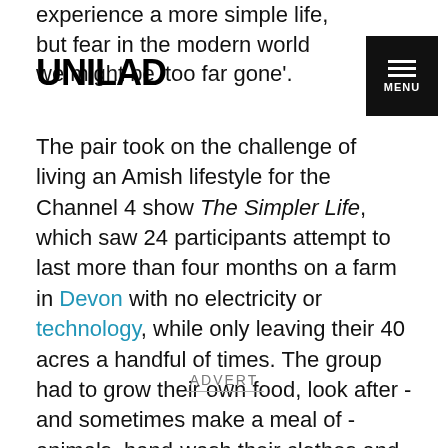experience a more simple life, but fear in the modern world we might be 'too far gone'.
UNILAD
The pair took on the challenge of living an Amish lifestyle for the Channel 4 show The Simpler Life, which saw 24 participants attempt to last more than four months on a farm in Devon with no electricity or technology, while only leaving their 40 acres a handful of times. The group had to grow their own food, look after - and sometimes make a meal of - animals, hand-wash their clothes and attempt to sell their produce to earn money.
ADVERT